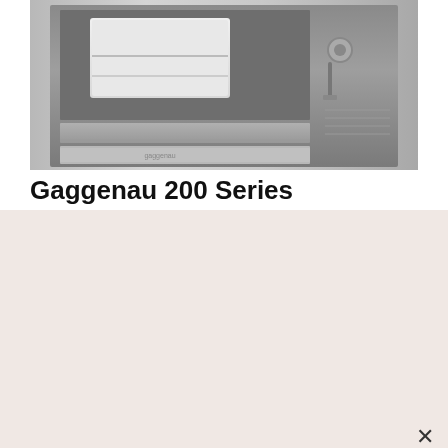[Figure (photo): Gaggenau 200 Series built-in coffee machine, stainless steel, front view showing coffee compartment and drawer]
Gaggenau 200 Series
By clicking "Accept" or continuing to use the site, you agree to the use of our and third-party cookies and other similar technologies. Find out more about cookies and how we use them on our website in our privacy policy.
ACCEPT